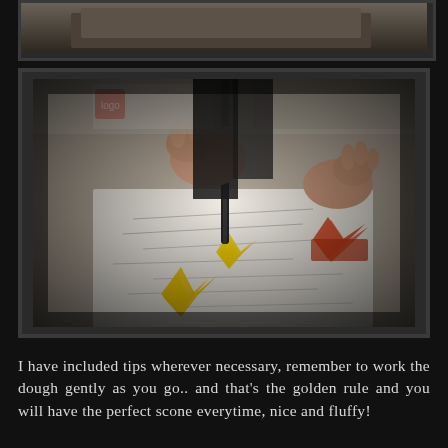[Figure (photo): Partial top photo visible at top of page, dark/muted background]
[Figure (photo): Child's hands pressing a knife or tool into yellow star-shaped cookie cutters on white paper, with red/orange star cutter nearby, shot with Instagram-style warm filter and dark vignette border]
I have included tips wherever necessary, remember to work the dough gently as you go.. and that's the golden rule and you will have the perfect scone everytime, nice and fluffy!